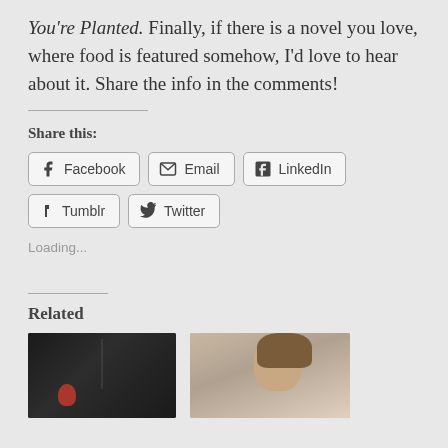You're Planted. Finally, if there is a novel you love, where food is featured somehow, I'd love to hear about it. Share the info in the comments!
Share this:
[Figure (other): Social share buttons for Facebook, Email, LinkedIn, Tumblr, Twitter]
Loading...
Related
[Figure (photo): Dark image with a red object at bottom, possibly a plant or fruit]
[Figure (photo): Photo of a person with brown hair]